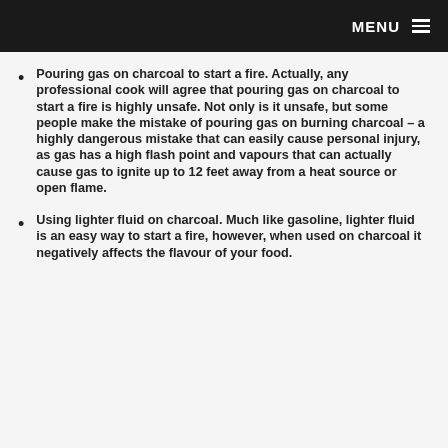MENU
Pouring gas on charcoal to start a fire. Actually, any professional cook will agree that pouring gas on charcoal to start a fire is highly unsafe. Not only is it unsafe, but some people make the mistake of pouring gas on burning charcoal – a highly dangerous mistake that can easily cause personal injury, as gas has a high flash point and vapours that can actually cause gas to ignite up to 12 feet away from a heat source or open flame.
Using lighter fluid on charcoal. Much like gasoline, lighter fluid is an easy way to start a fire, however, when used on charcoal it negatively affects the flavour of your food.